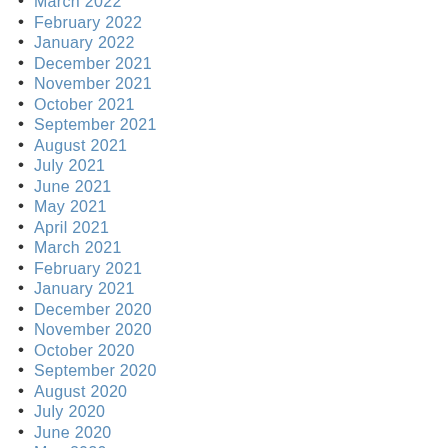March 2022
February 2022
January 2022
December 2021
November 2021
October 2021
September 2021
August 2021
July 2021
June 2021
May 2021
April 2021
March 2021
February 2021
January 2021
December 2020
November 2020
October 2020
September 2020
August 2020
July 2020
June 2020
May 2020